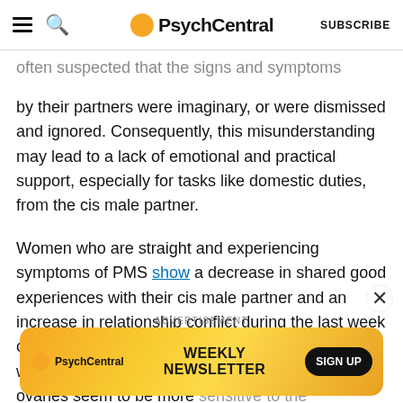PsychCentral | SUBSCRIBE
often suspected that the signs and symptoms reported by their partners were imaginary, or were dismissed and ignored. Consequently, this misunderstanding may lead to a lack of emotional and practical support, especially for tasks like domestic duties, from the cis male partner.
Women who are straight and experiencing symptoms of PMS show a decrease in shared good experiences with their cis male partner and an increase in relationship conflict during the last week of the cycle. This seems to be the case because while experiencing PMS symptoms, people with ovaries seem to be more sensitive to the unpleasant things in the environment
[Figure (other): PsychCentral advertisement banner: Weekly Newsletter Sign Up]